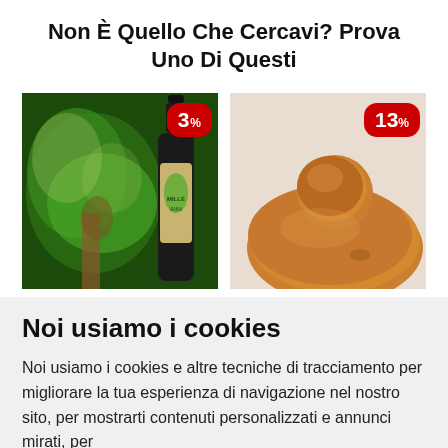Non È Quello Che Cercavi? Prova Uno Di Questi
[Figure (photo): Two product images side by side: left is an olive oil bottle with illustrated tree label (3% badge), right is a round bread/brioche bun (13% badge)]
Noi usiamo i cookies
Noi usiamo i cookies e altre tecniche di tracciamento per migliorare la tua esperienza di navigazione nel nostro sito, per mostrarti contenuti personalizzati e annunci mirati, per